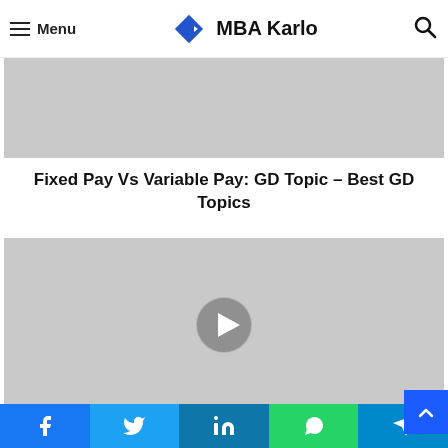Menu | MBA Karlo
[Figure (photo): Gray placeholder image for Fixed Pay Vs Variable Pay article]
Fixed Pay Vs Variable Pay: GD Topic – Best GD Topics
[Figure (photo): Gray placeholder image with a play/next button circle for Beti Bachao Beti Padhao article]
Beti Bachao Beti Padhao: GD Topic – Best GD
Facebook | Twitter | LinkedIn | WhatsApp | Telegram